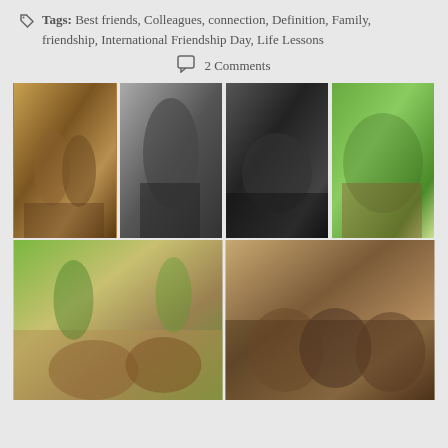Tags: Best friends, Colleagues, connection, Definition, Family, friendship, International Friendship Day, Life Lessons
2 Comments
[Figure (photo): Grid of 6 photos showing children and friends across different eras and cultures: vintage sepia photo of two young children, black-and-white photo of two people with backpacks, black-and-white photo of children by a creek, color photo of African children playing with bubbles, color photo of young children laughing on a dirt road, and sepia-toned photo of three laughing boys.]